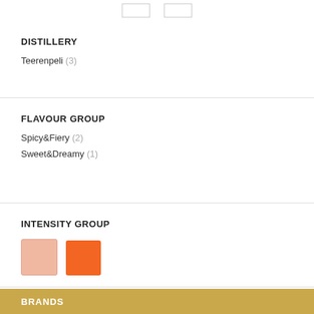DISTILLERY
Teerenpeli (3)
FLAVOUR GROUP
Spicy&Fiery (2)
Sweet&Dreamy (1)
INTENSITY GROUP
[Figure (other): Two color swatches: light salmon/pink square and orange square representing intensity levels]
BRANDS